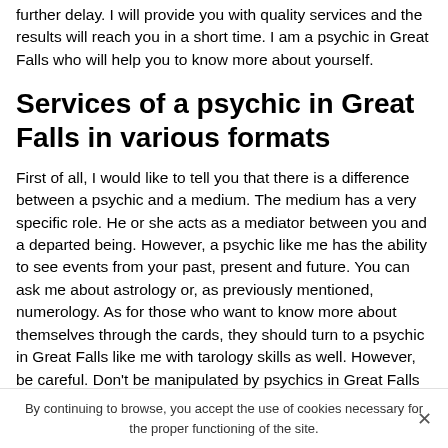further delay. I will provide you with quality services and the results will reach you in a short time. I am a psychic in Great Falls who will help you to know more about yourself.
Services of a psychic in Great Falls in various formats
First of all, I would like to tell you that there is a difference between a psychic and a medium. The medium has a very specific role. He or she acts as a mediator between you and a departed being. However, a psychic like me has the ability to see events from your past, present and future. You can ask me about astrology or, as previously mentioned, numerology. As for those who want to know more about themselves through the cards, they should turn to a psychic in Great Falls like me with tarology skills as well. However, be careful. Don't be manipulated by psychics in Great Falls who are much more into dark
By continuing to browse, you accept the use of cookies necessary for the proper functioning of the site.